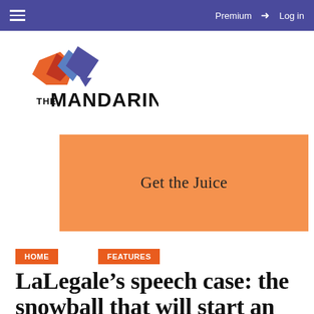Premium  Log in
[Figure (logo): The Mandarin logo with geometric orange, red and blue/purple diamond shapes above the text THE MANDARIN]
[Figure (other): Orange promotional banner reading 'Get the Juice']
HOME
FEATURES
LaLegale’s speech case: the snowball that will start an avalanche?